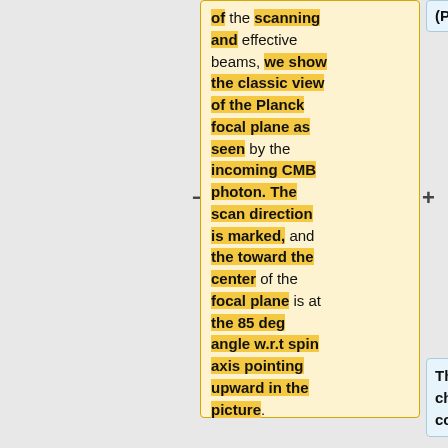of the scanning and effective beams, we show the classic view of the Planck focal plane as seen by the incoming CMB photon. The scan direction is marked, and the toward the center of the focal plane is at the 85 deg angle w.r.t spin axis pointing upward in the picture.
(PODA)===
The main challenge in computing the